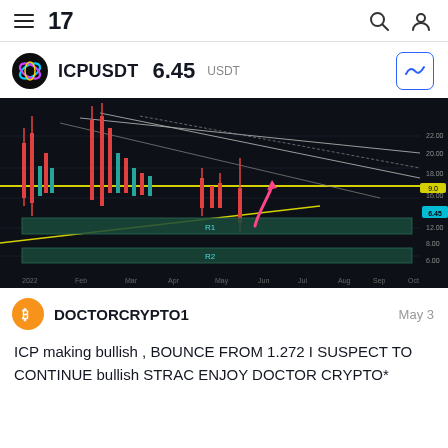TradingView navigation bar with hamburger menu, logo '17', search icon, user icon
ICPUSDT 6.45 USDT
[Figure (continuous-plot): Dark-background candlestick/line chart for ICPUSDT showing price history with support zones labeled R1 and R2 (green highlighted bands), diagonal trend lines, and a pink arrow pointing upward from the R1 zone indicating a bullish bounce setup. Time axis spans from 2022 to October. Y-axis shows price levels.]
DOCTORCRYPTO1    May 3
ICP making bullish , BOUNCE FROM 1.272 I SUSPECT TO CONTINUE bullish STRAC ENJOY DOCTOR CRYPTO*